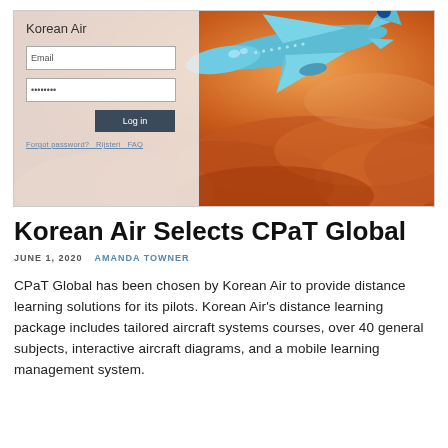[Figure (screenshot): Korean Air login page screenshot showing a login panel with Email and Password fields and a Log in button, overlaid on an image of a Korean Air airplane flying through golden-orange clouds]
Korean Air Selects CPaT Global
JUNE 1, 2020   AMANDA TOWNER
CPaT Global has been chosen by Korean Air to provide distance learning solutions for its pilots. Korean Air's distance learning package includes tailored aircraft systems courses, over 40 general subjects, interactive aircraft diagrams, and a mobile learning management system.